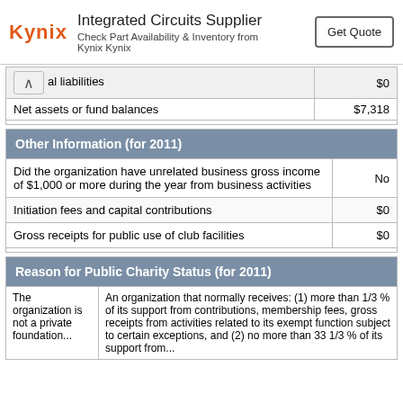[Figure (other): Advertisement banner: Kynix logo, 'Integrated Circuits Supplier', 'Check Part Availability & Inventory from Kynix Kynix', 'Get Quote' button]
|  |  |
| --- | --- |
| al liabilities | $0 |
| Net assets or fund balances | $7,318 |
| Other Information (for 2011) |  |
| --- | --- |
| Did the organization have unrelated business gross income of $1,000 or more during the year from business activities | No |
| Initiation fees and capital contributions | $0 |
| Gross receipts for public use of club facilities | $0 |
| Reason for Public Charity Status (for 2011) |  |
| --- | --- |
| The organization is not a private foundation... | An organization that normally receives: (1) more than 1/3 % of its support from contributions, membership fees, gross receipts from activities related to its exempt function subject to certain exceptions, and (2) no more than 33 1/3 % of its support from... |